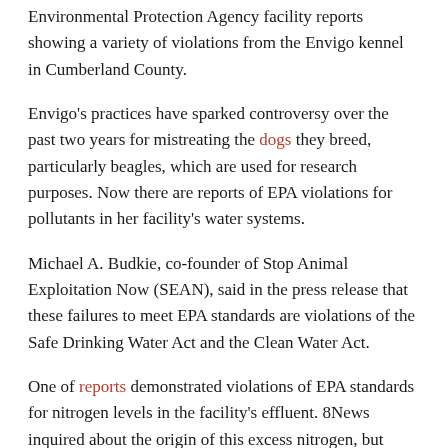Environmental Protection Agency facility reports showing a variety of violations from the Envigo kennel in Cumberland County.
Envigo's practices have sparked controversy over the past two years for mistreating the dogs they breed, particularly beagles, which are used for research purposes. Now there are reports of EPA violations for pollutants in her facility's water systems.
Michael A. Budkie, co-founder of Stop Animal Exploitation Now (SEAN), said in the press release that these failures to meet EPA standards are violations of the Safe Drinking Water Act and the Clean Water Act.
One of reports demonstrated violations of EPA standards for nitrogen levels in the facility's effluent. 8News inquired about the origin of this excess nitrogen, but authorities could not pinpoint a specific cause.
According to the report, this wastewater could affect surrounding watersheds, including the James River, Deep Creek, Muddy Creek, and Maxey Mill Creek.